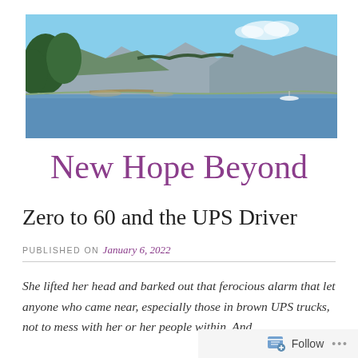[Figure (photo): Panoramic landscape photograph showing a mountain lake or fjord with forested hills and mountains in the background under a blue sky. Green trees visible on the left foreground.]
New Hope Beyond
Zero to 60 and the UPS Driver
PUBLISHED ON January 6, 2022
She lifted her head and barked out that ferocious alarm that let anyone who came near, especially those in brown UPS trucks, not to mess with her or her people within. And